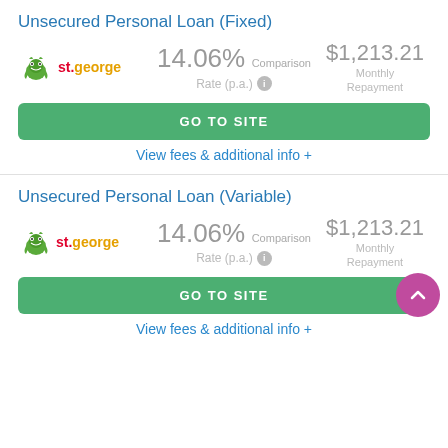Unsecured Personal Loan (Fixed)
st.george — 14.06% Comparison Rate (p.a.) — $1,213.21 Monthly Repayment
GO TO SITE
View fees & additional info +
Unsecured Personal Loan (Variable)
st.george — 14.06% Comparison Rate (p.a.) — $1,213.21 Monthly Repayment
GO TO SITE
View fees & additional info +